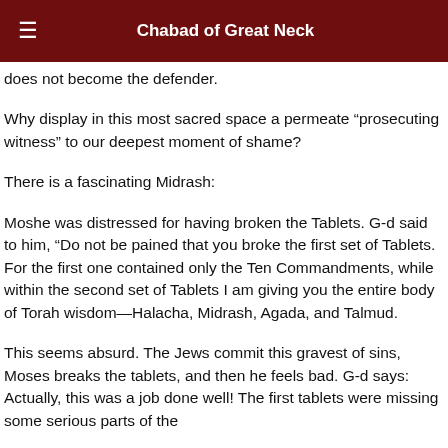Chabad of Great Neck
does not become the defender.
Why display in this most sacred space a permeate “prosecuting witness” to our deepest moment of shame?
There is a fascinating Midrash:
Moshe was distressed for having broken the Tablets. G-d said to him, “Do not be pained that you broke the first set of Tablets. For the first one contained only the Ten Commandments, while within the second set of Tablets I am giving you the entire body of Torah wisdom—Halacha, Midrash, Agada, and Talmud.
This seems absurd. The Jews commit this gravest of sins, Moses breaks the tablets, and then he feels bad. G-d says: Actually, this was a job done well! The first tablets were missing some serious parts of the